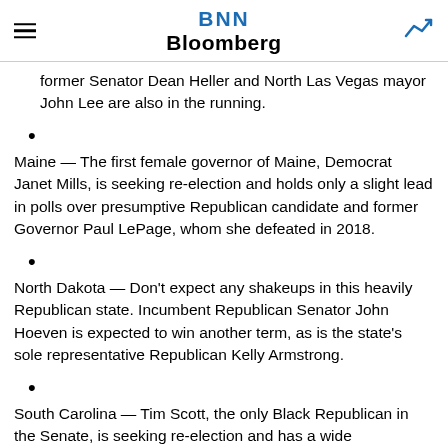BNN Bloomberg
former Senator Dean Heller and North Las Vegas mayor John Lee are also in the running.
Maine — The first female governor of Maine, Democrat Janet Mills, is seeking re-election and holds only a slight lead in polls over presumptive Republican candidate and former Governor Paul LePage, whom she defeated in 2018.
North Dakota — Don't expect any shakeups in this heavily Republican state. Incumbent Republican Senator John Hoeven is expected to win another term, as is the state's sole representative Republican Kelly Armstrong.
South Carolina — Tim Scott, the only Black Republican in the Senate, is seeking re-election and has a wide